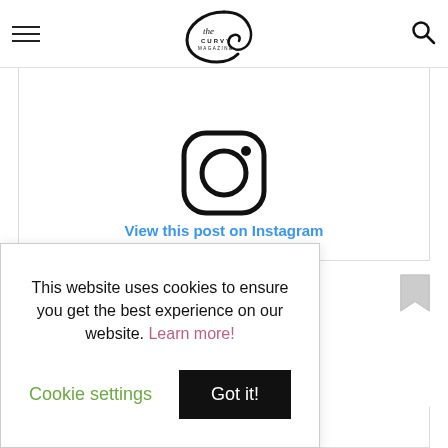The Curvy Magazine
[Figure (logo): Instagram logo icon (rounded square with circle and dot)]
View this post on Instagram
This website uses cookies to ensure you get the best experience on our website. Learn more!
Cookie settings   Got it!